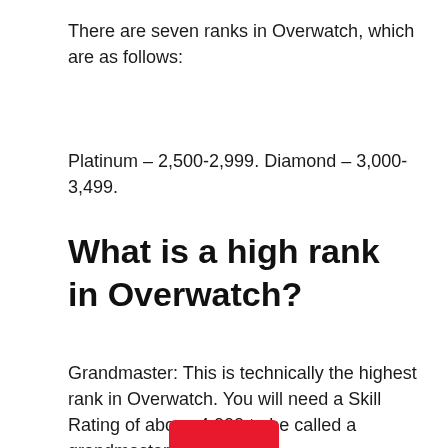There are seven ranks in Overwatch, which are as follows:
Platinum – 2,500-2,999. Diamond – 3,000-3,499.
What is a high rank in Overwatch?
Grandmaster: This is technically the highest rank in Overwatch. You will need a Skill Rating of above 4,000 to be called a grandmaster.